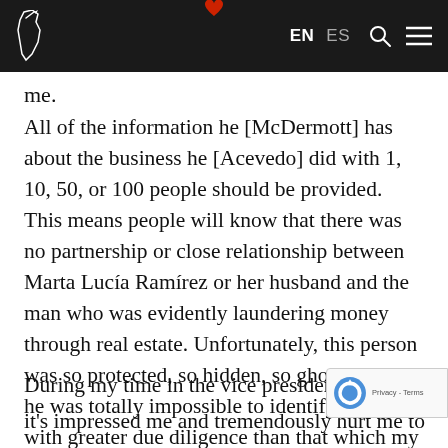EN  ES  [search] [menu]
me.
All of the information he [McDermott] has about the business he [Acevedo] did with 1, 10, 50, or 100 people should be provided. This means people will know that there was no partnership or close relationship between Marta Lucía Ramírez or her husband and the man who was evidently laundering money through real estate. Unfortunately, this person was so protected, so hidden, so ghostly, that he was totally impossible to identify, even with greater due diligence than that which my husband's office carried out.
During my time in the vice presidency, fra...
it's impressed me and tremendously hurt me to